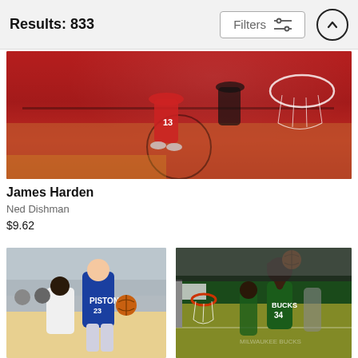Results: 833
[Figure (photo): Aerial/overhead view of James Harden (#13) in Houston Rockets red uniform near basketball hoop, shot from above looking down at the court]
James Harden
Ned Dishman
$9.62
[Figure (photo): Basketball player #23 in Detroit Pistons blue uniform dribbling during a game, crowd and teammates visible in background]
[Figure (photo): Basketball player #34 in Milwaukee Bucks green uniform going up for a shot near the basket, other players visible around him on the green court]